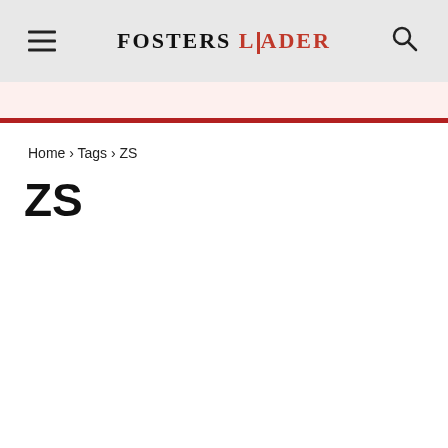FOSTERS LEADER
Home › Tags › ZS
ZS